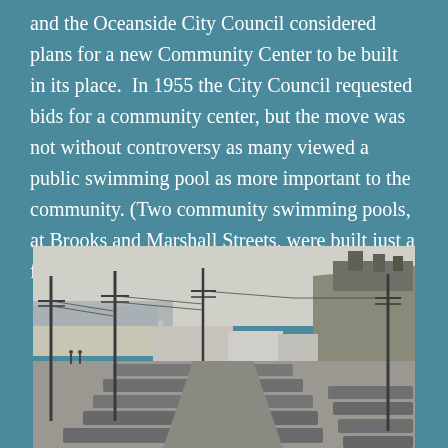and the Oceanside City Council considered plans for a new Community Center to be built in its place.  In 1955 the City Council requested bids for a community center, but the move was not without controversy as many viewed a public swimming pool as more important to the community. (Two community swimming pools, at Brooks and Marshall Streets, were built just a few years later.)
[Figure (photo): Black and white historical photograph showing a coastal parking lot full of 1950s-era cars, with power line poles, low buildings, a beach and ocean in the background, and a hillside with structures to the right.]